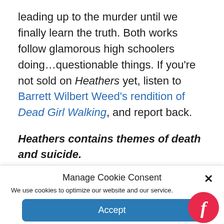leading up to the murder until we finally learn the truth. Both works follow glamorous high schoolers doing…questionable things. If you're not sold on Heathers yet, listen to Barrett Wilbert Weed's rendition of Dead Girl Walking, and report back.
Heathers contains themes of death and suicide.
Manage Cookie Consent
We use cookies to optimize our website and our service.
Accept
Cookie Policy   Privacy statement